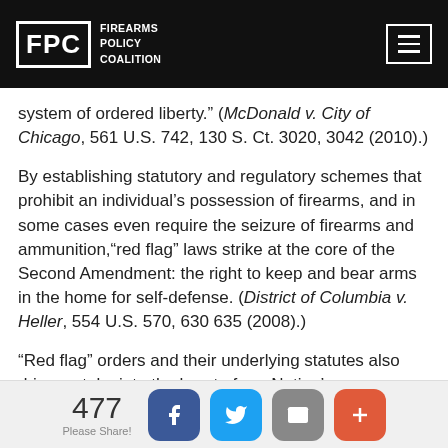FPC Firearms Policy Coalition
system of ordered liberty.” (McDonald v. City of Chicago, 561 U.S. 742, 130 S. Ct. 3020, 3042 (2010).)
By establishing statutory and regulatory schemes that prohibit an individual’s possession of firearms, and in some cases even require the seizure of firearms and ammunition,“red flag” laws strike at the core of the Second Amendment: the right to keep and bear arms in the home for self-defense. (District of Columbia v. Heller, 554 U.S. 570, 630 635 (2008).)
“Red flag” orders and their underlying statutes also drive a stake into the heart of our Nation’s fundamental principles. The Fifth Amendment’s Due
477 Please Share!